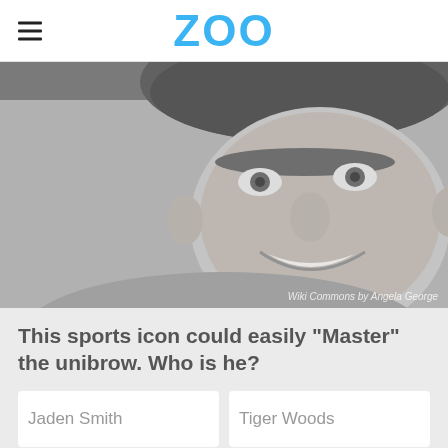ZOO
[Figure (photo): Grayscale close-up photo of a smiling male sports figure wearing a baseball cap, with 'Wiki Commons by Angela George' credit in bottom right]
Wiki Commons by Angela George
This sports icon could easily "Master" the unibrow. Who is he?
Jaden Smith
Tiger Woods